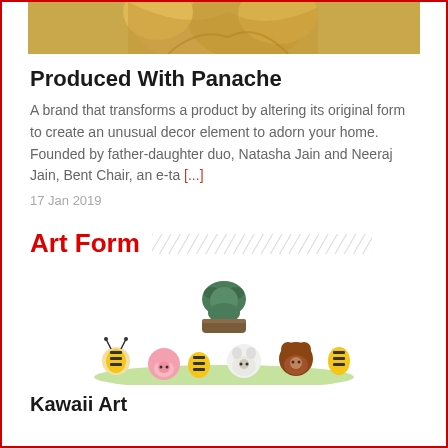[Figure (photo): Golden decorative sculpted figures, partially visible at top of page]
Produced With Panache
A brand that transforms a product by altering its original form to create an unusual decor element to adorn your home. Founded by father-daughter duo, Natasha Jain and Neeraj Jain, Bent Chair, an e-ta [...]
17 Jan 2019
Art Form
[Figure (photo): Colorful crocheted kawaii-style animal figures arranged in a group — bees, a pig, a cow, a bear, and an elephant on top]
Kawaii Art